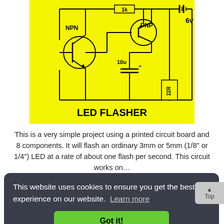[Figure (circuit-diagram): LED Flasher circuit diagram with NPN transistor, PNP transistor, 1k resistor, 10u capacitor, 22R resistor, and 6v battery on yellow background. Labeled 'LED FLASHER'.]
This is a very simple project using a printed circuit board and 8 components. It will flash an ordinary 3mm or 5mm (1/8" or 1/4") LED at a rate of about one flash per second. This circuit works on...
This website uses cookies to ensure you get the best experience on our website. Learn more
Got it!
[Figure (circuit-diagram): Partial circuit diagram at bottom of page, yellow background with diode symbols visible.]